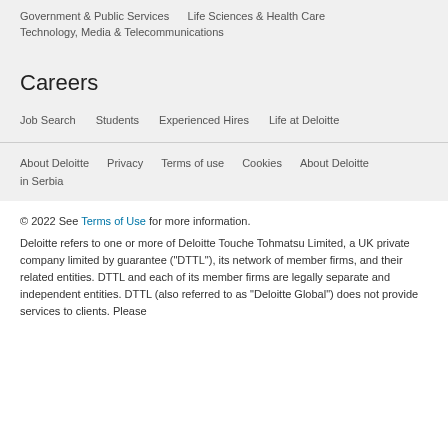Government & Public Services    Life Sciences & Health Care
Technology, Media & Telecommunications
Careers
Job Search    Students    Experienced Hires    Life at Deloitte
About Deloitte    Privacy    Terms of use    Cookies    About Deloitte in Serbia
© 2022 See Terms of Use for more information.
Deloitte refers to one or more of Deloitte Touche Tohmatsu Limited, a UK private company limited by guarantee ("DTTL"), its network of member firms, and their related entities. DTTL and each of its member firms are legally separate and independent entities. DTTL (also referred to as "Deloitte Global") does not provide services to clients. Please